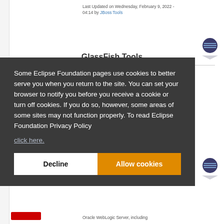Last Updated on Wednesday, February 9, 2022 - 04:14 by JBoss Tools
GlassFish Tools
Some Eclipse Foundation pages use cookies to better serve you when you return to the site. You can set your browser to notify you before you receive a cookie or turn off cookies. If you do so, however, some areas of some sites may not function properly. To read Eclipse Foundation Privacy Policy click here.
Decline
Allow cookies
Oracle WebLogic Server, including